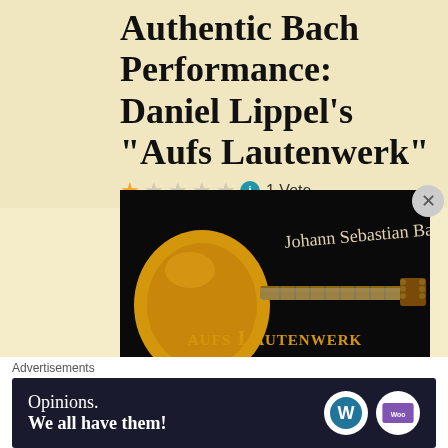Authentic Bach Performance: Daniel Lippel's “Aufs Lautenwerk”
1 Vote
[Figure (photo): Album cover for 'aufs Lautenwerk' by Daniel Lippel. Black background with a classical guitar on the left, cursive signature 'Johann Sebastian Bach' at top, gold gothic-font text 'aufs Lautenwerk' in the middle, and script text 'Daniel Lippel' at the bottom.]
Advertisements
[Figure (other): WordPress advertisement banner with dark navy background. Text reads 'Opinions. We all have them!' with WordPress and WooCommerce logos on the right.]